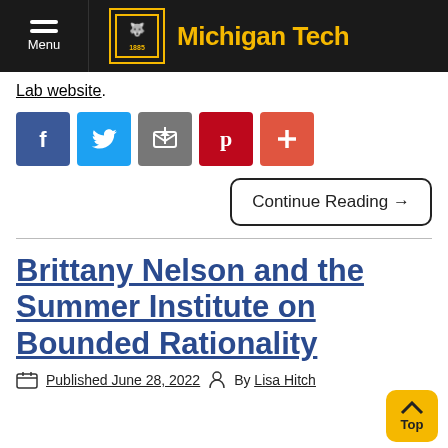Menu | Michigan Tech
Lab website.
[Figure (infographic): Social sharing buttons: Facebook, Twitter, Email/share, Pinterest, More (+)]
Continue Reading →
Brittany Nelson and the Summer Institute on Bounded Rationality
Published June 28, 2022   By Lisa Hitch